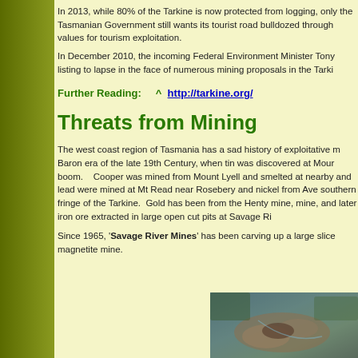In 2013, while 80% of the Tarkine is now protected from logging, only the Tasmanian Government still wants its tourist road bulldozed through values for tourism exploitation.
In December 2010, the incoming Federal Environment Minister Tony listing to lapse in the face of numerous mining proposals in the Tarki
Further Reading:    ^  http://tarkine.org/
Threats from Mining
The west coast region of Tasmania has a sad history of exploitative mining from the Robber Baron era of the late 19th Century, when tin was discovered at Mount Bischoff, triggering a boom. Cooper was mined from Mount Lyell and smelted at nearby Queenstown, zinc and lead were mined at Mt Read near Rosebery and nickel from Avebury on the southern fringe of the Tarkine. Gold has been from the Henty mine, and the Renison Bell mine, and later iron ore extracted in large open cut pits at Savage River.
Since 1965, 'Savage River Mines' has been carving up a large slice of the Tarkine as a magnetite mine.
[Figure (photo): Aerial photograph showing open cut mining pits and disturbed land, likely the Savage River Mines area in Tasmania]